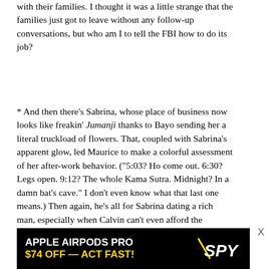with their families. I thought it was a little strange that the families just got to leave without any follow-up conversations, but who am I to tell the FBI how to do its job?
* And then there's Sabrina, whose place of business now looks like freakin' Jumanji thanks to Bayo sending her a literal truckload of flowers. That, coupled with Sabrina's apparent glow, led Maurice to make a colorful assessment of her after-work behavior. ("5:03? Ho come out. 6:30? Legs open. 9:12? The whole Kama Sutra. Midnight? In a damn bat's cave." I don't even know what that last one means.) Then again, he's all for Sabrina dating a rich man, especially when Calvin can't even afford the batteries for her vibrator — not that she should be taking dating advice from someone who's temporarily housing a man who robbed him at gunpoint. Choices.
[Figure (other): Advertisement banner: APPLE AIRPODS PRO $74 OFF — ACT FAST! with SPY logo on black background]